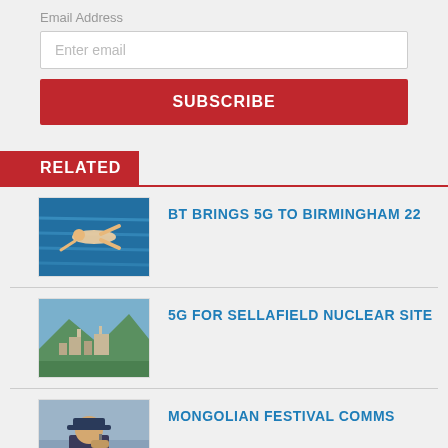Email Address
Enter email
SUBSCRIBE
RELATED
BT BRINGS 5G TO BIRMINGHAM 22
[Figure (photo): Aerial view of swimmer in pool]
5G FOR SELLAFIELD NUCLEAR SITE
[Figure (photo): Aerial view of Sellafield nuclear site with green fields]
MONGOLIAN FESTIVAL COMMS
[Figure (photo): Person wearing blue cap holding radio]